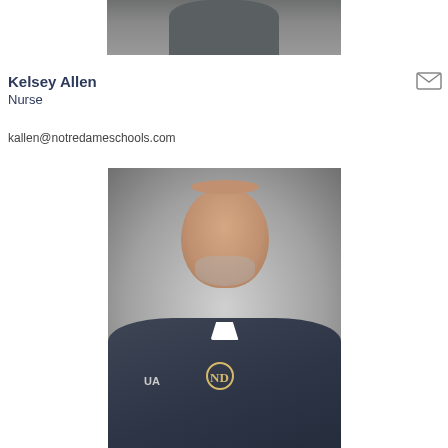[Figure (photo): Cropped bottom of a person wearing a dark gray polo shirt, partial torso visible]
Kelsey Allen
Nurse
kallen@notredameschools.com
[Figure (photo): Professional headshot of a bald middle-aged man with a gray goatee, wearing a dark navy striped polo shirt with Under Armour and ND (Notre Dame) logos, smiling at camera against a gray gradient background]